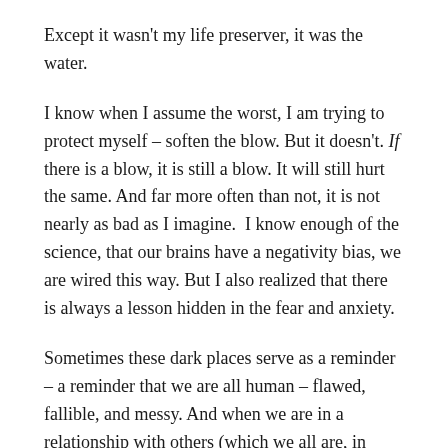Except it wasn't my life preserver, it was the water.
I know when I assume the worst, I am trying to protect myself – soften the blow. But it doesn't. If there is a blow, it is still a blow. It will still hurt the same. And far more often than not, it is not nearly as bad as I imagine.  I know enough of the science, that our brains have a negativity bias, we are wired this way. But I also realized that there is always a lesson hidden in the fear and anxiety.
Sometimes these dark places serve as a reminder – a reminder that we are all human – flawed, fallible, and messy. And when we are in a relationship with others (which we all are, in some way or another), the messy can spill over